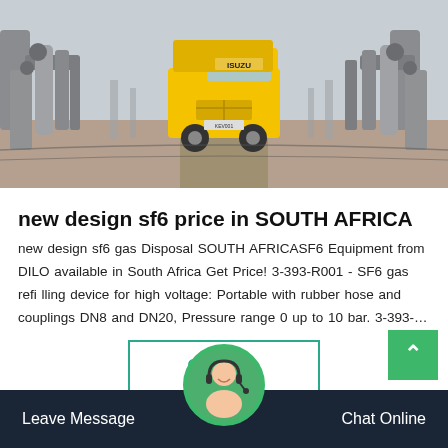[Figure (photo): Industrial site photo showing a yellow ISUZU truck in the center background, flanked by large metal pipe and valve assemblies on both sides, with structures visible in the far background.]
new design sf6 price in SOUTH AFRICA
new design sf6 gas Disposal SOUTH AFRICASF6 Equipment from DILO available in South Africa Get Price! 3-393-R001 - SF6 gas refi lling device for high voltage: Portable with rubber hose and couplings DN8 and DN20, Pressure range 0 up to 10 bar. 3-393-…
Get Price
Leave Message    Chat Online